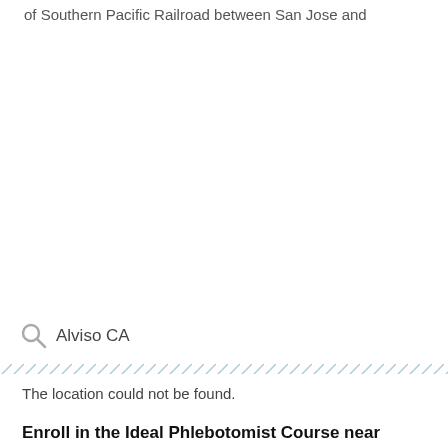of Southern Pacific Railroad between San Jose and Oakland.
[Figure (screenshot): Large blank white area representing a map or content area that failed to load]
Alviso CA
The location could not be found.
Enroll in the Ideal Phlebotomist Course near